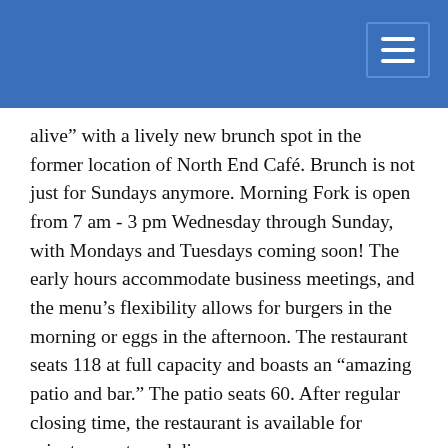[navigation bar with hamburger menu]
alive” with a lively new brunch spot in the former location of North End Café. Brunch is not just for Sundays anymore. Morning Fork is open from 7 am - 3 pm Wednesday through Sunday, with Mondays and Tuesdays coming soon! The early hours accommodate business meetings, and the menu’s flexibility allows for burgers in the morning or eggs in the afternoon. The restaurant seats 118 at full capacity and boasts an “amazing patio and bar.” The patio seats 60. After regular closing time, the restaurant is available for private events and dinners.
Chef/Owner Geoffrey Heyde attended the Culinary Institute of America in New York City and received additional training from other Louisville chefs. “The restaurant business is a community around here. I want to create an